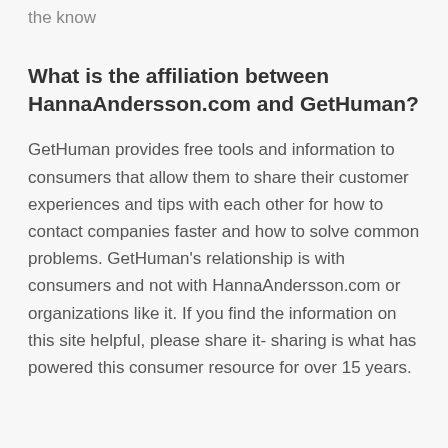the know
What is the affiliation between HannaAndersson.com and GetHuman?
GetHuman provides free tools and information to consumers that allow them to share their customer experiences and tips with each other for how to contact companies faster and how to solve common problems. GetHuman's relationship is with consumers and not with HannaAndersson.com or organizations like it. If you find the information on this site helpful, please share it- sharing is what has powered this consumer resource for over 15 years.